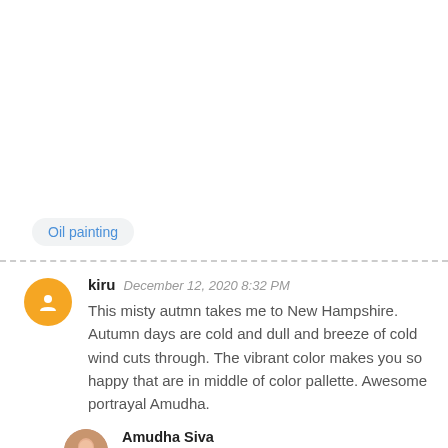Oil painting
kiru  December 12, 2020 8:32 PM
This misty autmn takes me to New Hampshire. Autumn days are cold and dull and breeze of cold wind cuts through. The vibrant color makes you so happy that are in middle of color pallette. Awesome portrayal Amudha.
Amudha Siva
December 12, 2020 10:47 PM